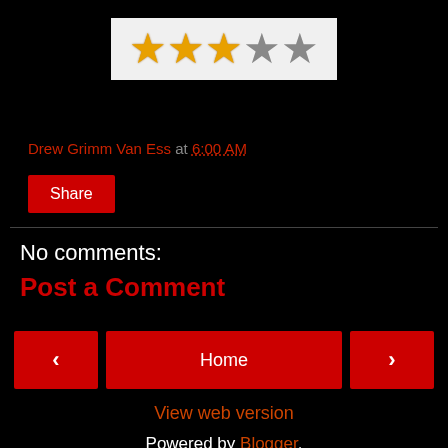[Figure (illustration): 3 gold stars and 2 gray stars rating image on light gray background]
Drew Grimm Van Ess at 6:00 AM
Share
No comments:
Post a Comment
‹  Home  ›
View web version
Powered by Blogger.